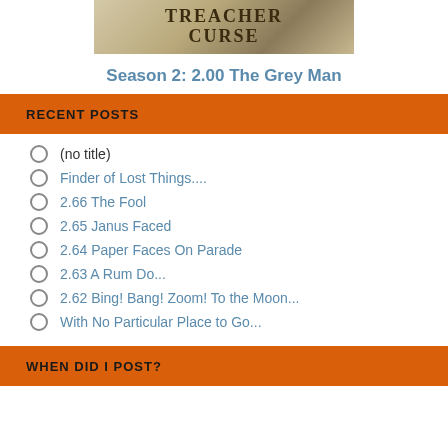[Figure (photo): Book cover image showing text 'TREACHEROUS CURSE' with decorative graphic elements]
Season 2: 2.00 The Grey Man
RECENT POSTS
(no title)
Finder of Lost Things....
2.66 The Fool
2.65 Janus Faced
2.64 Paper Faces On Parade
2.63 A Rum Do...
2.62 Bing! Bang! Zoom! To the Moon...
With No Particular Place to Go...
WHEN DID I POST?